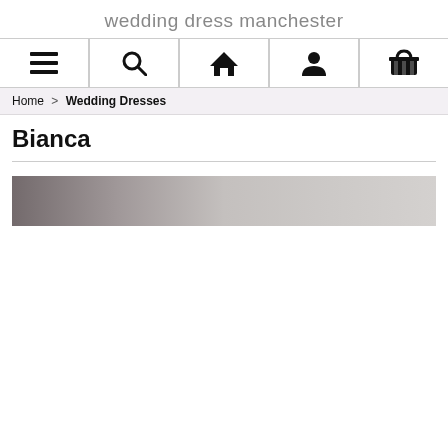wedding dress manchester
[Figure (infographic): Navigation bar with five icons: hamburger menu, search (magnifying glass), home (house), user (person silhouette), cart (shopping basket)]
Home > Wedding Dresses
Bianca
[Figure (photo): A horizontal banner image with a dark-to-light gray gradient, appearing as a placeholder or loading image for a product photo]